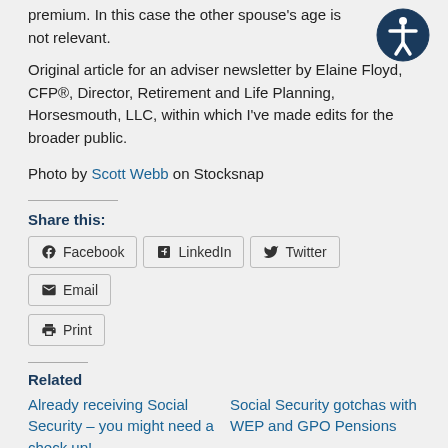premium. In this case the other spouse's age is not relevant.
Original article for an adviser newsletter by Elaine Floyd, CFP®, Director, Retirement and Life Planning, Horsesmouth, LLC, within which I've made edits for the broader public.
Photo by Scott Webb on Stocksnap
Share this:
Facebook  LinkedIn  Twitter  Email  Print
Related
Already receiving Social Security – you might need a check up!
Social Security gotchas with WEP and GPO Pensions